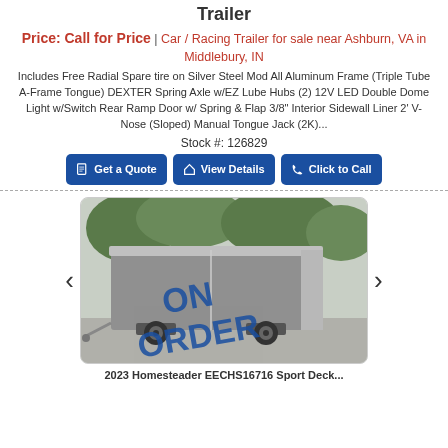Trailer
Price: Call for Price | Car / Racing Trailer for sale near Ashburn, VA in Middlebury, IN
Includes Free Radial Spare tire on Silver Steel Mod All Aluminum Frame (Triple Tube A-Frame Tongue) DEXTER Spring Axle w/EZ Lube Hubs (2) 12V LED Double Dome Light w/Switch Rear Ramp Door w/ Spring & Flap 3/8" Interior Sidewall Liner 2' V-Nose (Sloped) Manual Tongue Jack (2K)...
Stock #: 126829
Get a Quote
View Details
Click to Call
[Figure (photo): Photo of an enclosed car/racing trailer with 'ON ORDER' text overlay stamped diagonally across the image. The trailer is gray/silver, shown outdoors with trees in background.]
2023 Homesteader EECHS16716 Sport Deck...